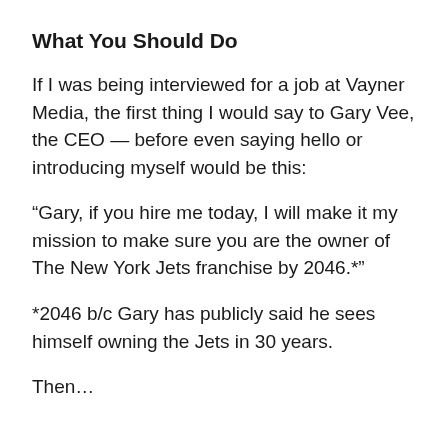What You Should Do
If I was being interviewed for a job at Vayner Media, the first thing I would say to Gary Vee, the CEO — before even saying hello or introducing myself would be this:
“Gary, if you hire me today, I will make it my mission to make sure you are the owner of The New York Jets franchise by 2046.*”
*2046 b/c Gary has publicly said he sees himself owning the Jets in 30 years.
Then…